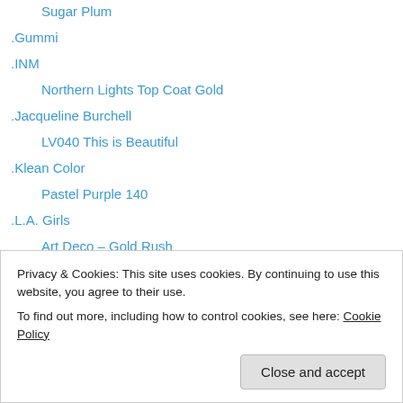Sugar Plum
.Gummi
.INM
Northern Lights Top Coat Gold
.Jacqueline Burchell
LV040 This is Beautiful
.Klean Color
Pastel Purple 140
.L.A. Girls
Art Deco – Gold Rush
.Lunasol
EX04 Fresh Coral
.Marc Jacobs (Nails)
Privacy & Cookies: This site uses cookies. By continuing to use this website, you agree to their use.
To find out more, including how to control cookies, see here: Cookie Policy